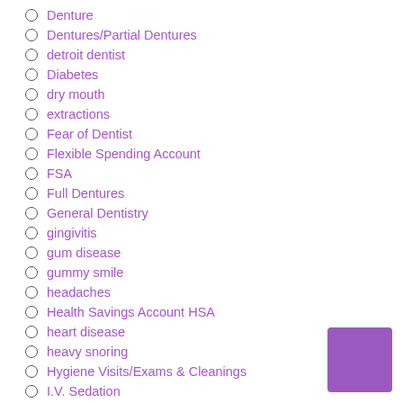Denture
Dentures/Partial Dentures
detroit dentist
Diabetes
dry mouth
extractions
Fear of Dentist
Flexible Spending Account
FSA
Full Dentures
General Dentistry
gingivitis
gum disease
gummy smile
headaches
Health Savings Account HSA
heart disease
heavy snoring
Hygiene Visits/Exams & Cleanings
I.V. Sedation
I.V. Sedation (twilight sleep)
implant dentist
invisalign